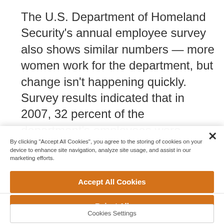The U.S. Department of Homeland Security's annual employee survey also shows similar numbers — more women work for the department, but change isn't happening quickly. Survey results indicated that in 2007, 32 percent of the department's employees were women; in 2010, 37.5 percent were [women].
By clicking "Accept All Cookies", you agree to the storing of cookies on your device to enhance site navigation, analyze site usage, and assist in our marketing efforts.
Accept All Cookies
Reject All
Cookies Settings